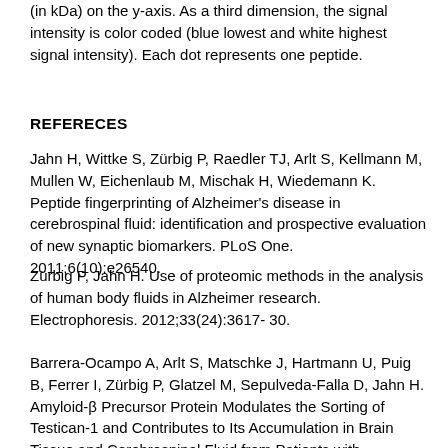(in kDa) on the y-axis. As a third dimension, the signal intensity is color coded (blue lowest and white highest signal intensity). Each dot represents one peptide.
REFERECES
Jahn H, Wittke S, Zürbig P, Raedler TJ, Arlt S, Kellmann M, Mullen W, Eichenlaub M, Mischak H, Wiedemann K. Peptide fingerprinting of Alzheimer's disease in cerebrospinal fluid: identification and prospective evaluation of new synaptic biomarkers. PLoS One. 2011;6(10):e26540.
Zürbig P, Jahn H. Use of proteomic methods in the analysis of human body fluids in Alzheimer research. Electrophoresis. 2012;33(24):3617-30.
Barrera-Ocampo A, Arlt S, Matschke J, Hartmann U, Puig B, Ferrer I, Zürbig P, Glatzel M, Sepulveda-Falla D, Jahn H. Amyloid-β Precursor Protein Modulates the Sorting of Testican-1 and Contributes to Its Accumulation in Brain Tissue and Cerebrospinal Fluid from Patients with Alzheimer Disease. Neurochem Exp Neurol. 2013;72(3):223-13.